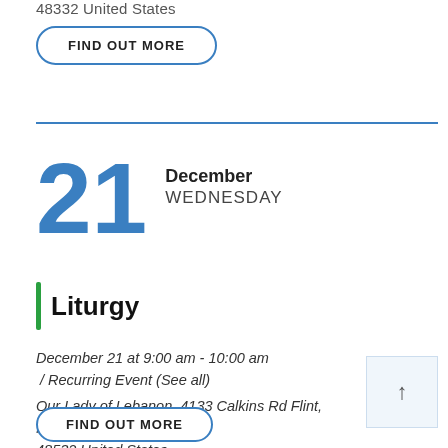48532 United States
FIND OUT MORE
21 December WEDNESDAY
Liturgy
December 21 at 9:00 am - 10:00 am / Recurring Event (See all)
Our Lady of Lebanon, 4133 Calkins Rd Flint, MI 48532 United States
FIND OUT MORE